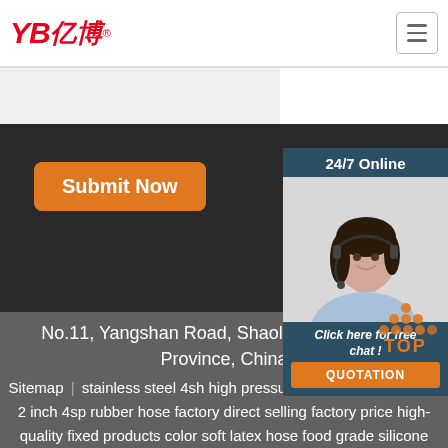YB亿博 [logo] | hamburger menu
[Figure (screenshot): Customer service representative photo with headset, 24/7 Online panel on right side with dark blue background]
Submit Now
24/7 Online
Click here for free chat !
QUOTATION
No.11, Yangshan Road, Shaoling District, Luoyang Province, China
Sitemap | stainless steel 4sh high pressure hydraulic black color 2 inch 4sp rubber hose factory direct selling factory price high-quality fixed products color soft latex hose food grade silicone